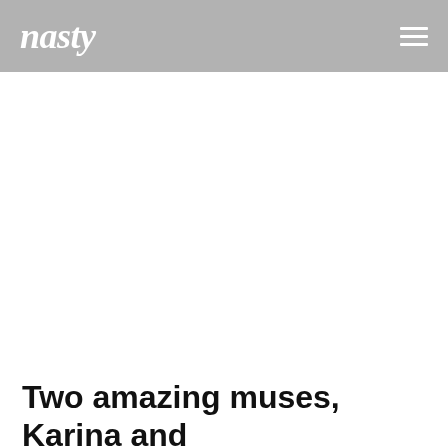nasty
[Figure (photo): Large white/blank image area below the navigation header]
Two amazing muses, Karina and